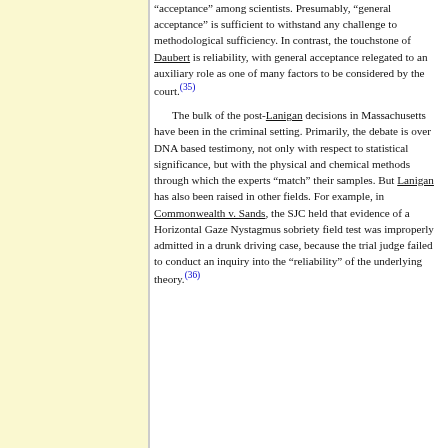"acceptance" among scientists. Presumably, "general acceptance" is sufficient to withstand any challenge to methodological sufficiency. In contrast, the touchstone of Daubert is reliability, with general acceptance relegated to an auxiliary role as one of many factors to be considered by the court.(35)

The bulk of the post-Lanigan decisions in Massachusetts have been in the criminal setting. Primarily, the debate is over DNA based testimony, not only with respect to statistical significance, but with the physical and chemical methods through which the experts "match" their samples. But Lanigan has also been raised in other fields. For example, in Commonwealth v. Sands, the SJC held that evidence of a Horizontal Gaze Nystagmus sobriety field test was improperly admitted in a drunk driving case, because the trial judge failed to conduct an inquiry into the "reliability" of the underlying theory.(36)